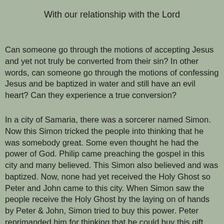With our relationship with the Lord
Can someone go through the motions of accepting Jesus and yet not truly be converted from their sin?  In other words, can someone go through the motions of confessing Jesus and be baptized in water and still have an evil heart?  Can they experience a true conversion?
In a city of Samaria, there was a sorcerer named Simon.  Now this Simon tricked the people into thinking that he was somebody great.   Some even thought he had the power of God.  Philip came preaching the gospel in this city and many believed.  This Simon also believed and was baptized.  Now, none had yet received the Holy Ghost so Peter and John came to this city.  When Simon saw the people receive the Holy Ghost by the laying on of hands by Peter & John, Simon tried to buy this power.  Peter reprimanded him for thinking that he could buy this gift with money and said “Repent for your heart is not yet right with God.  Pray God that He may forgive the thought of your heart.” They then prayed with Simon and in Peter’s